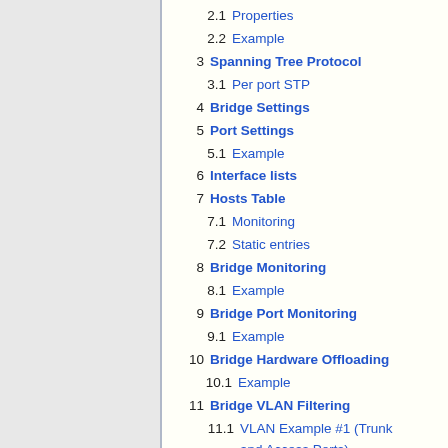2.1  Properties
2.2  Example
3  Spanning Tree Protocol
3.1  Per port STP
4  Bridge Settings
5  Port Settings
5.1  Example
6  Interface lists
7  Hosts Table
7.1  Monitoring
7.2  Static entries
8  Bridge Monitoring
8.1  Example
9  Bridge Port Monitoring
9.1  Example
10  Bridge Hardware Offloading
10.1  Example
11  Bridge VLAN Filtering
11.1  VLAN Example #1 (Trunk and Access Ports)
11.2  VLAN Example #2 (Trunk and Hybrid Ports)
11.3  VLAN Example #3 (InterVLAN Routing by